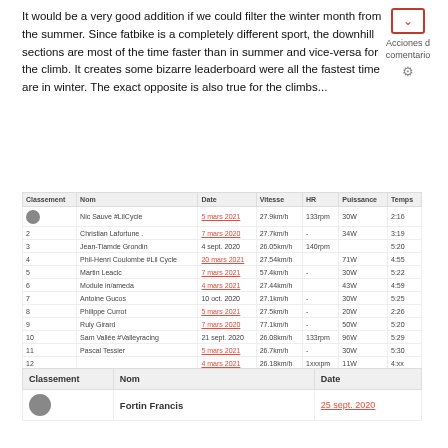It would be a very good addition if we could filter the winter month from the summer. Since fatbike is a completely different sport, the downhill sections are most of the time faster than in summer and vice-versa for the climb. It creates some bizarre leaderboard were all the fastest time are in winter. The exact opposite is also true for the climbs...
Acciones d comentario
| Classement | Nom | Date | Vitesse | HR | Puissance | Temps |
| --- | --- | --- | --- | --- | --- | --- |
| (avatar) | Nic Sauve #LilCycle | 5 mars 2021 | 27.9km/h | 133rpm | 30W | 2:16 |
| 2 | Christian Lafortune . | 7 mars 2020 | 27.7km/h | - | 34W | 3:19 |
| 3 | Jean-Tiamde Grondin | 4 sept. 2020 | 26.05km/h | 140rpm |  | 5:20 |
| 4 | Phil-Henri Coulombe #Lil Cycle | 20 mars 2021 | 27.54km/h |  | 71W | 4:55 |
| 5 | Martin Leaclc | 7 mars 2021 | 57.4km/h | - | 30W | 5:22 |
| 6 | Module in/ameda | 4 mars 2021 | 27.44km/h |  | 43W | 4:59 |
| 7 | Antoine Gucos | 10 oct. 2020 | 27.1km/h | - | 30W | 5:25 |
| 8 | Philippe Currot | 5 mars 2021 | 27.5km/h | - | 20W | 2:26 |
| 9 | Ruly Girard | 7 mars 2020 | 77.1km/h | - | 50W | 5:20 |
| 10 | Sam Vallée #Valleyracing | 21 sept. 2020 | 26.08km/h | 133rpm | 96W | 5:29 |
| 11 | Pascal Tessier | 5 mars 2021 | 26.7km/h | - | 30W | 5:30 |
| 12 | (cut off) | 4 mars 2021 | 26.18km/h | 1xxxpm | 11W | 4:xx |
| Classement | Nom | Date |
| --- | --- | --- |
| (avatar) | Fortin Francis | 25 sept. 2020 |